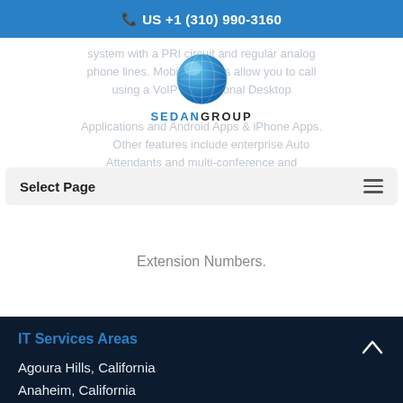US +1 (310) 990-3160
[Figure (logo): Sedan Group logo with blue globe and company name SEDANGROUP]
system with a PRI circuit and regular analog phone lines. Mobile devices allow you to call using a VoIP or traditional Desktop Applications and Android Apps & iPhone Apps. Other features include enterprise Auto Attendants and multi-conference and Extension Numbers.
Select Page
Extension Numbers.
IT Services Areas
Agoura Hills, California
Anaheim, California
Beverly Hills, California
Big Bear, California
Canyon Country, California